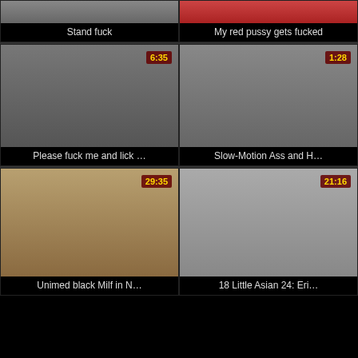[Figure (photo): Video thumbnail 1 (partial, top row left) - Stand fuck]
Stand fuck
[Figure (photo): Video thumbnail 2 (partial, top row right) - My red pussy gets fucked]
My red pussy gets fucked
[Figure (photo): Video thumbnail 3 - couple on bed, duration 6:35 - Please fuck me and lick ...]
Please fuck me and lick …
[Figure (photo): Video thumbnail 4 - close up, duration 1:28 - Slow-Motion Ass and H...]
Slow-Motion Ass and H…
[Figure (photo): Video thumbnail 5 - interracial scene, duration 29:35 - Unimed black Milf in N...]
Unimed black Milf in N…
[Figure (photo): Video thumbnail 6 - asian scene, duration 21:16 - 18 Little Asian 24: Eri...]
18 Little Asian 24: Eri…